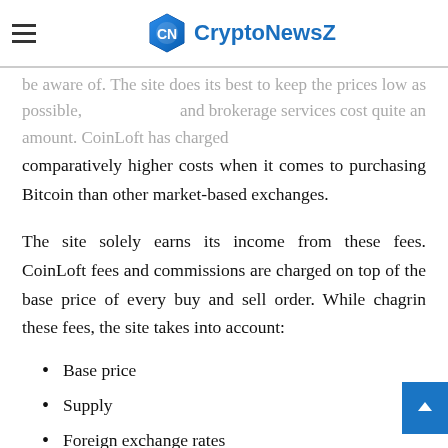CryptoNewsZ
be aware of. The site does its best to keep the prices low as possible, and brokerage services cost quite an amount. CoinLoft has charged comparatively higher costs when it comes to purchasing Bitcoin than other market-based exchanges.
The site solely earns its income from these fees. CoinLoft fees and commissions are charged on top of the base price of every buy and sell order. While chagrin these fees, the site takes into account:
Base price
Supply
Foreign exchange rates